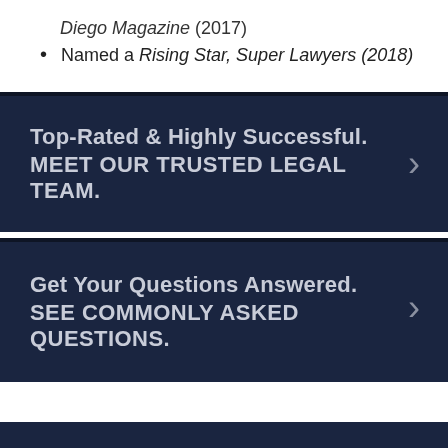Diego Magazine (2017)
Named a Rising Star, Super Lawyers (2018)
Top-Rated & Highly Successful. MEET OUR TRUSTED LEGAL TEAM.
Get Your Questions Answered. SEE COMMONLY ASKED QUESTIONS.